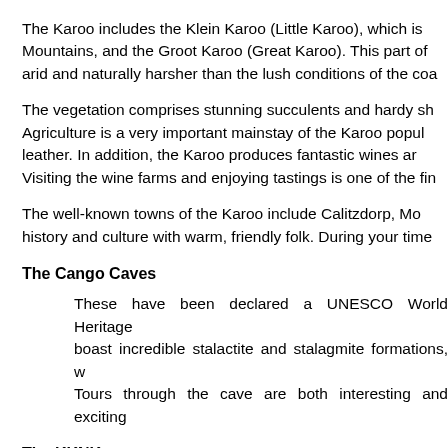The Karoo includes the Klein Karoo (Little Karoo), which is Mountains, and the Groot Karoo (Great Karoo). This part of arid and naturally harsher than the lush conditions of the coa
The vegetation comprises stunning succulents and hardy sh Agriculture is a very important mainstay of the Karoo popul leather. In addition, the Karoo produces fantastic wines ar Visiting the wine farms and enjoying tastings is one of the fin
The well-known towns of the Karoo include Calitzdorp, Mo history and culture with warm, friendly folk. During your time
The Cango Caves
These have been declared a UNESCO World Heritage boast incredible stalactite and stalagmite formations, w Tours through the cave are both interesting and exciting
The KKNK
Every year, the Klein Karoo Nasionale Kunstefees cele forms are showcased here, giving locals and internatio Rainbow Nation.
Nature reserves